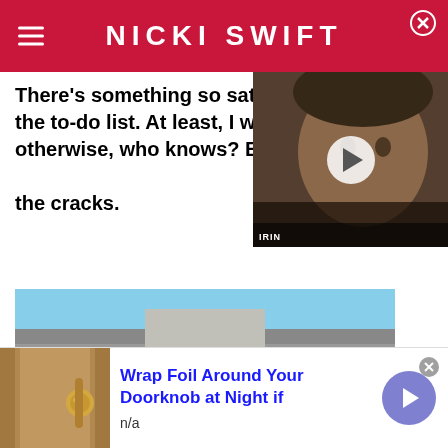NICKI SWIFT
There's something so satisfying about checking tasks off the to-do list. At least, I write everything down, otherwise, who knows? Everything would fall through the cracks.
[Figure (screenshot): Video thumbnail showing a man's face (Johnny Depp) with a play button overlay, partially overlapping the article text]
[Figure (photo): Advertisement image showing a house with three wooden garage doors with arched tops]
[Figure (photo): Bottom advertisement strip showing a doorknob image on the left with headline 'Wrap Foil Around Your Doorknob at Night if' and 'n/a' subtext, with a purple arrow button on the right]